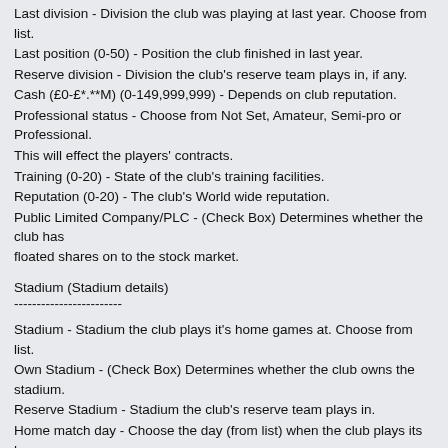Last division - Division the club was playing at last year. Choose from list.
Last position (0-50) - Position the club finished in last year.
Reserve division - Division the club's reserve team plays in, if any.
Cash (£0-£*.**M) (0-149,999,999) - Depends on club reputation.
Professional status - Choose from Not Set, Amateur, Semi-pro or Professional.
This will effect the players' contracts.
Training (0-20) - State of the club's training facilities.
Reputation (0-20) - The club's World wide reputation.
Public Limited Company/PLC - (Check Box) Determines whether the club has floated shares on to the stock market.
Stadium (Stadium details)
------------------------
Stadium - Stadium the club plays it's home games at. Choose from list.
Own Stadium - (Check Box) Determines whether the club owns the stadium.
Reserve Stadium - Stadium the club's reserve team plays in.
Home match day - Choose the day (from list) when the club plays its home games.
Attendance (0-999,999,999) - The average attendance at the club at the moment.
Minimum attendance (0-999,999,999) - The season's worst expected